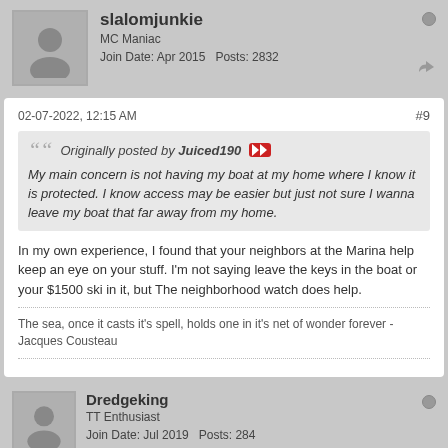slalomjunkie
MC Maniac
Join Date: Apr 2015   Posts: 2832
02-07-2022, 12:15 AM  #9
Originally posted by Juiced190
My main concern is not having my boat at my home where I know it is protected. I know access may be easier but just not sure I wanna leave my boat that far away from my home.
In my own experience, I found that your neighbors at the Marina help keep an eye on your stuff. I'm not saying leave the keys in the boat or your $1500 ski in it, but The neighborhood watch does help.
The sea, once it casts it's spell, holds one in it's net of wonder forever - Jacques Cousteau
Dredgeking
TT Enthusiast
Join Date: Jul 2019   Posts: 284